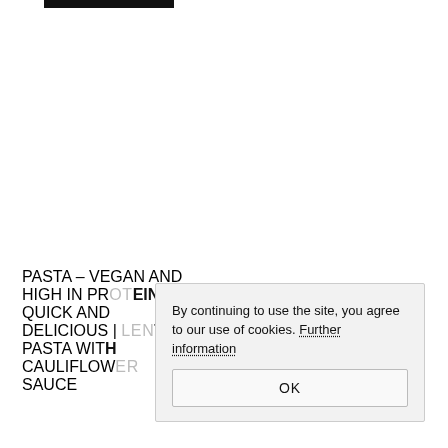[Figure (logo): Black rectangular logo/header bar at top left]
PASTA – VEGAN AND HIGH IN PROTEIN | QUICK AND DELICIOUS | LENTIL PASTA WITH CAULIFLOWER SAUCE
By continuing to use the site, you agree to our use of cookies. Further information
OK